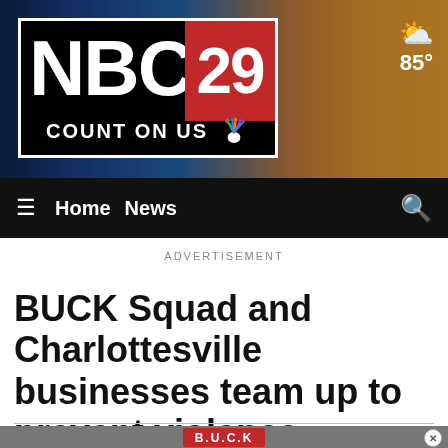[Figure (screenshot): NBC29 local news website header with logo, city background, weather widget showing 85°, navigation bar with Home and News links, advertisement label, article headline, and partial BUCK Squad photo at bottom]
NBC29 COUNT ON US
≡  Home  News  🔍
ADVERTISEMENT
BUCK Squad and Charlottesville businesses team up to prevent violence
[Figure (photo): Partial photo showing a red B.U.C.K cap at the bottom of the page]